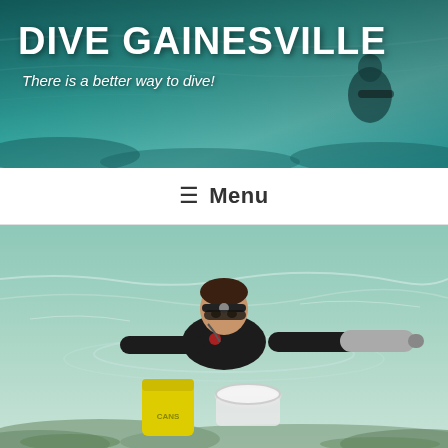[Figure (photo): Header banner photo showing an underwater diver in clear turquoise spring water with rocky bottom, wearing scuba gear]
DIVE GAINESVILLE
There is a better way to dive!
≡ Menu
[Figure (photo): A diver in a black wetsuit with headlamp lies at the water surface in a clear spring, holding a metal tank, with yellow and white containers floating in front of him]